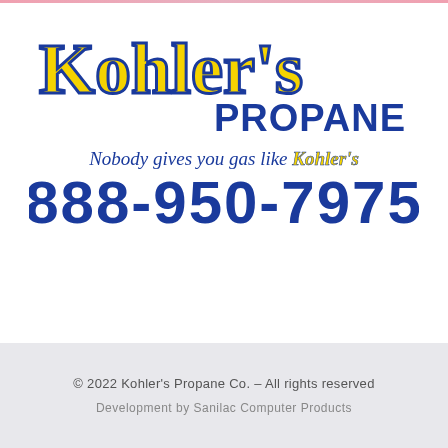[Figure (logo): Kohler's Propane North logo featuring yellow script 'Kohler's' text with blue outline, blue bold 'PROPANE NORTH' text, italic tagline 'Nobody gives you gas like Kohler's', and large blue phone number 888-950-7975]
Kohler's Propane North
957 S. Van Dyke Bad Axe, MI 48413
© 2022 Kohler's Propane Co. – All rights reserved
Development by Sanilac Computer Products